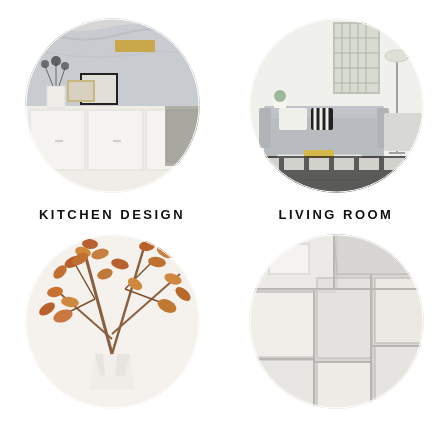[Figure (photo): Circular cropped photo of a white kitchen with marble backsplash, cabinet, artwork and flowers]
KITCHEN DESIGN
[Figure (photo): Circular cropped photo of a bright living room with grey sofa, striped pillows, white coffee table, and black and white rug]
LIVING ROOM
[Figure (photo): Circular cropped photo of autumn branches with rust-colored leaves in a white geometric vase]
[Figure (photo): Circular cropped photo of white geometric tile samples arranged in an angular pattern]